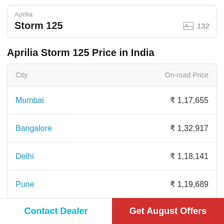Aprilia
Storm 125
Aprilia Storm 125 Price in India
| City | On-road Price |
| --- | --- |
| Mumbai | ₹ 1,17,655 |
| Bangalore | ₹ 1,32,917 |
| Delhi | ₹ 1,18,141 |
| Pune | ₹ 1,19,689 |
Contact Dealer
Get August Offers